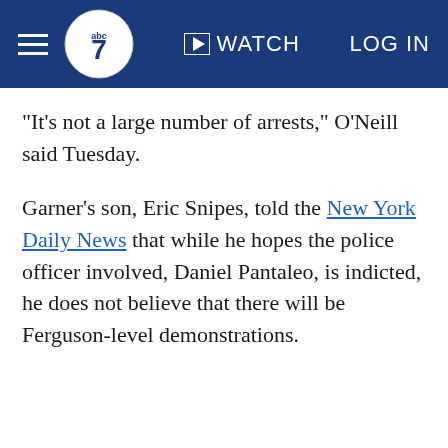ABC7 WATCH LOG IN
"It's not a large number of arrests," O'Neill said Tuesday.
Garner's son, Eric Snipes, told the New York Daily News that while he hopes the police officer involved, Daniel Pantaleo, is indicted, he does not believe that there will be Ferguson-level demonstrations.